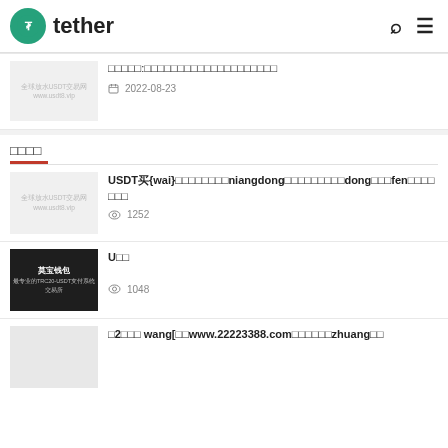tether
□□□□□:□□□□□□□□□□□□□□□□□□□□ 2022-08-23
□□□□
USDT买{wai}□□□□□□□□□□niangdong□□□fen□□□□□□□□ 1252
U□□ 1048
□2□□□ wang[□□www.22223388.com□□□□□□zhuang□□